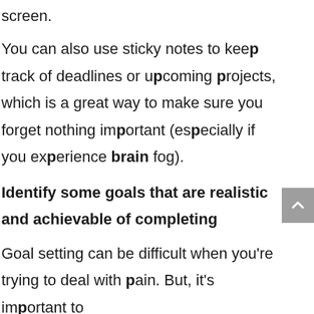screen.
You can also use sticky notes to keep track of deadlines or upcoming projects, which is a great way to make sure you forget nothing important (especially if you experience brain fog).
Identify some goals that are realistic and achievable of completing
Goal setting can be difficult when you're trying to deal with pain. But, it's important to